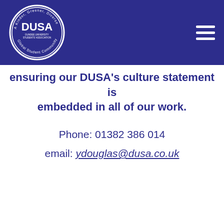[Figure (logo): DUSA logo — circular white-bordered emblem with 'DUSA' in the centre and text around the ring reading 'A Kinder, Greener, Diverse' and 'Global Student Community' on a dark navy header bar]
ensuring our DUSA's culture statement is embedded in all of our work.
Phone: 01382 386 014
email: ydouglas@dusa.co.uk